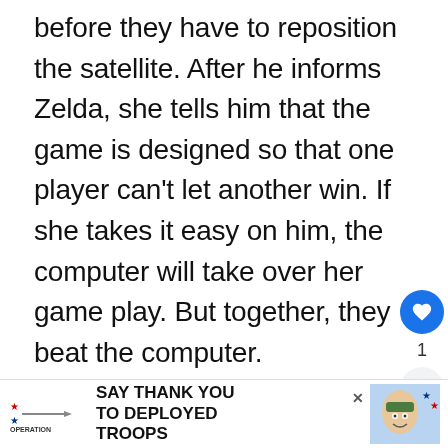before they have to reposition the satellite. After he informs Zelda, she tells him that the game is designed so that one player can't let another win. If she takes it easy on him, the computer will take over her game play. But together, they beat the computer.
Using the pattern Jake left in the sand, Cameron accesses a video he left. Jake revealed that he created the game took advantage of his secret and threatened
[Figure (infographic): Advertisement banner for Operation Gratitude: 'SAY THANK YOU TO DEPLOYED TROOPS' with cartoon soldier mascot and close button]
[Figure (infographic): UI sidebar with heart/like button (blue circle), count of 1, and share button. Also a 'WHAT'S NEXT' box with Stitchers Recap label.]